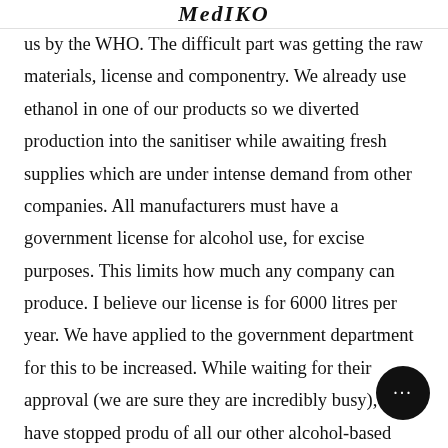MedIKO
us by the WHO. The difficult part was getting the raw materials, license and componentry. We already use ethanol in one of our products so we diverted production into the sanitiser while awaiting fresh supplies which are under intense demand from other companies. All manufacturers must have a government license for alcohol use, for excise purposes. This limits how much any company can produce. I believe our license is for 6000 litres per year. We have applied to the government department for this to be increased. While waiting for their approval (we are sure they are incredibly busy), we have stopped production of all our other alcohol-based formulations to ensure we have the capacity to produce sanitiser